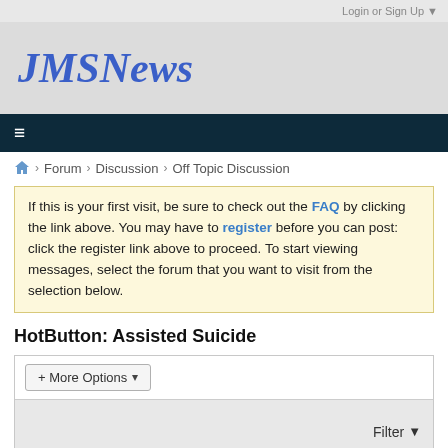Login or Sign Up ▼
JMSNews
≡
🏠 > Forum > Discussion > Off Topic Discussion
If this is your first visit, be sure to check out the FAQ by clicking the link above. You may have to register before you can post: click the register link above to proceed. To start viewing messages, select the forum that you want to visit from the selection below.
HotButton: Assisted Suicide
+ More Options ▼
Filter ▼